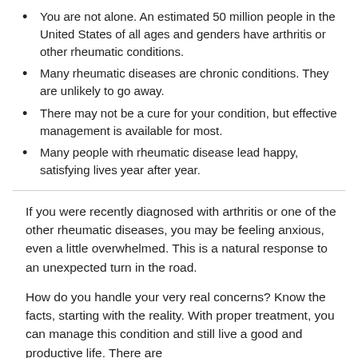You are not alone. An estimated 50 million people in the United States of all ages and genders have arthritis or other rheumatic conditions.
Many rheumatic diseases are chronic conditions. They are unlikely to go away.
There may not be a cure for your condition, but effective management is available for most.
Many people with rheumatic disease lead happy, satisfying lives year after year.
If you were recently diagnosed with arthritis or one of the other rheumatic diseases, you may be feeling anxious, even a little overwhelmed. This is a natural response to an unexpected turn in the road.
How do you handle your very real concerns? Know the facts, starting with the reality. With proper treatment, you can manage this condition and still live a good and productive life. There are